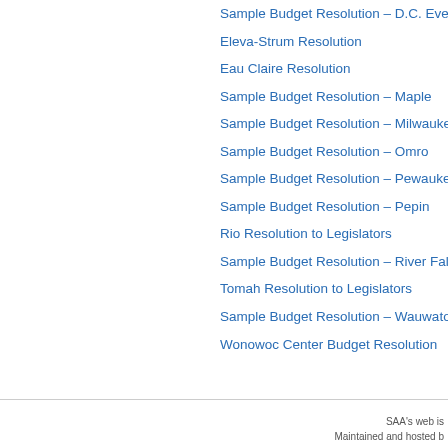Sample Budget Resolution – D.C. Everest
Eleva-Strum Resolution
Eau Claire Resolution
Sample Budget Resolution – Maple
Sample Budget Resolution – Milwaukee Pub
Sample Budget Resolution – Omro
Sample Budget Resolution – Pewaukee
Sample Budget Resolution – Pepin
Rio Resolution to Legislators
Sample Budget Resolution – River Falls
Tomah Resolution to Legislators
Sample Budget Resolution – Wauwatosa
Wonowoc Center Budget Resolution
SAA's web is
Maintained and hosted b